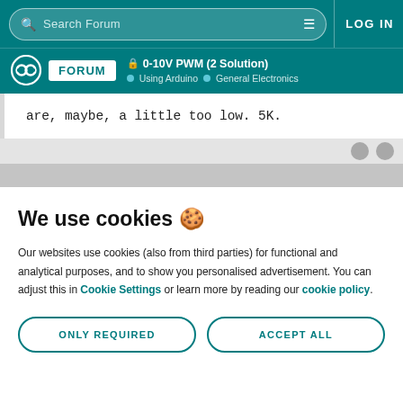Search Forum | LOG IN
0-10V PWM (2 Solution) | Using Arduino | General Electronics
are, maybe, a little too low. 5K.
We use cookies 🍪
Our websites use cookies (also from third parties) for functional and analytical purposes, and to show you personalised advertisement. You can adjust this in Cookie Settings or learn more by reading our cookie policy.
ONLY REQUIRED
ACCEPT ALL